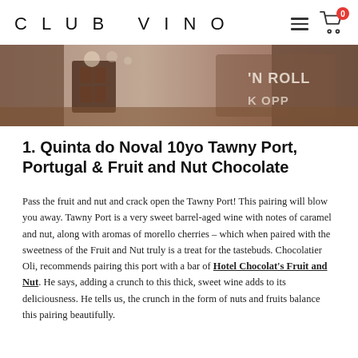CLUB VINO
[Figure (photo): Sepia-toned photograph of chocolate bars and items on a table with handwritten chalk-style text visible in the background reading 'N ROLL' and 'K OPP']
1. Quinta do Noval 10yo Tawny Port, Portugal & Fruit and Nut Chocolate
Pass the fruit and nut and crack open the Tawny Port! This pairing will blow you away. Tawny Port is a very sweet barrel-aged wine with notes of caramel and nut, along with aromas of morello cherries – which when paired with the sweetness of the Fruit and Nut truly is a treat for the tastebuds. Chocolatier Oli, recommends pairing this port with a bar of Hotel Chocolat's Fruit and Nut. He says, adding a crunch to this thick, sweet wine adds to its deliciousness. He tells us, the crunch in the form of nuts and fruits balance this pairing beautifully.